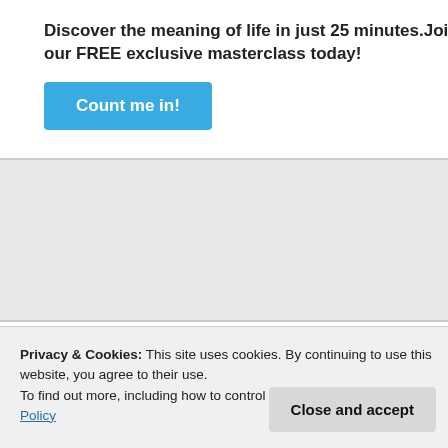Discover the meaning of life in just 25 minutes.Join our FREE exclusive masterclass today!
Count me in!
I'm glad you learned something from this blog, Regina. 🙂
★ Like
Reply
Advertisements
Privacy & Cookies: This site uses cookies. By continuing to use this website, you agree to their use.
To find out more, including how to control cookies, see here: Cookie Policy
Close and accept
Edgardo Porciuncula